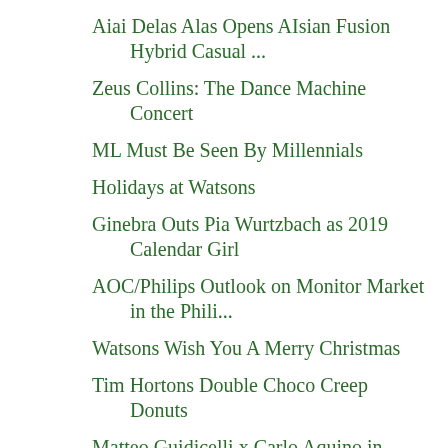Aiai Delas Alas Opens AIsian Fusion Hybrid Casual ...
Zeus Collins: The Dance Machine Concert
ML Must Be Seen By Millennials
Holidays at Watsons
Ginebra Outs Pia Wurtzbach as 2019 Calendar Girl
AOC/Philips Outlook on Monitor Market in the Phili...
Watsons Wish You A Merry Christmas
Tim Hortons Double Choco Creep Donuts
Matteo Guidicelli x Carlo Aquino in Concert